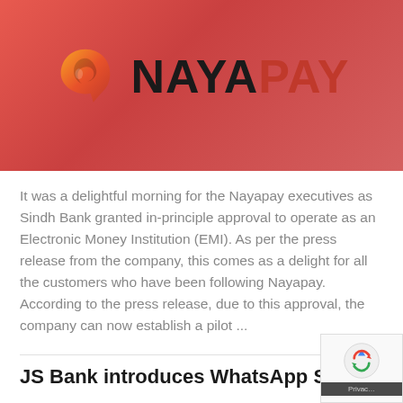[Figure (logo): NayaPay logo on a red/coral gradient background banner. Logo consists of an orange-red swirl icon and bold text 'NAYA' in dark/black and 'PAY' in dark red.]
It was a delightful morning for the Nayapay executives as Sindh Bank granted in-principle approval to operate as an Electronic Money Institution (EMI). As per the press release from the company, this comes as a delight for all the customers who have been following Nayapay. According to the press release, due to this approval, the company can now establish a pilot ...
JS Bank introduces WhatsApp Self-Service Ban…